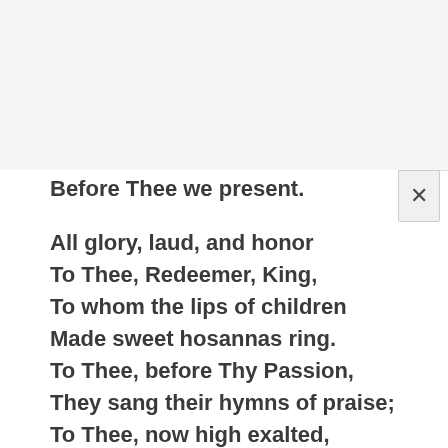Before Thee we present.
All glory, laud, and honor
To Thee, Redeemer, King,
To whom the lips of children
Made sweet hosannas ring.
To Thee, before Thy Passion,
They sang their hymns of praise;
To Thee, now high exalted,
Our melody we raise.
All glory, laud, and honor
To Thee, Redeemer, King,
To whom the lips of children
Made sweet hosannas ring.